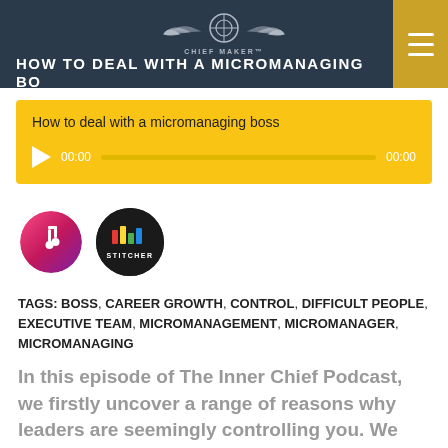HOW TO DEAL WITH A MICROMANAGING BO...
[Figure (screenshot): Audio player widget with yellow background, play button, progress bar, timestamps 00:00 and 00:00, titled 'How to deal with a micromanaging boss']
[Figure (logo): iTunes podcast icon - circular gradient logo]
[Figure (logo): Stitcher podcast icon - black circular logo with colored bars and STITCHER text]
TAGS: BOSS, CAREER GROWTH, CONTROL, DIFFICULT PEOPLE, EXECUTIVE TEAM, MICROMANAGEMENT, MICROMANAGER, MICROMANAGING
In this episode of The Inner Chief Podcast, we firstly uncover a range of reasons why leaders are seemingly controlling you. We then teach you step-by-step how to deal